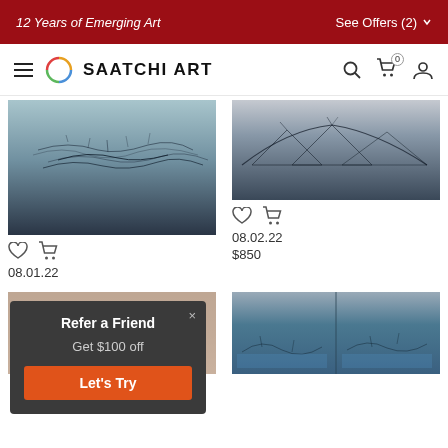12 Years of Emerging Art | See Offers (2)
[Figure (screenshot): Saatchi Art website navigation bar with hamburger menu, logo, search, cart and user icons]
[Figure (photo): Abstract landscape painting 08.01.22 - dark blue gradient with linear marks]
[Figure (photo): Abstract landscape painting 08.02.22 - mountain forms on grey background]
08.01.22
08.02.22
$850
[Figure (infographic): Refer a Friend popup - Get $100 off - Let's Try button]
[Figure (photo): Abstract painting - brown/copper tones partial view]
[Figure (photo): Abstract landscape diptych painting with blue tones and dark vegetation]